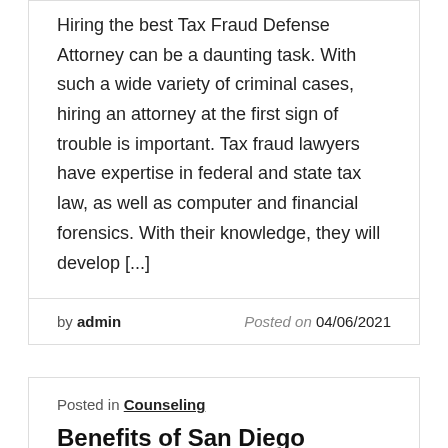Hiring the best Tax Fraud Defense Attorney can be a daunting task. With such a wide variety of criminal cases, hiring an attorney at the first sign of trouble is important. Tax fraud lawyers have expertise in federal and state tax law, as well as computer and financial forensics. With their knowledge, they will develop [...]
by admin  Posted on 04/06/2021
Posted in Counseling
Benefits of San Diego Counseling You Should Consider
If you're feeling overwhelmed by the stress and anxiety in your life, San Diego Counseling can help. Mental health and...